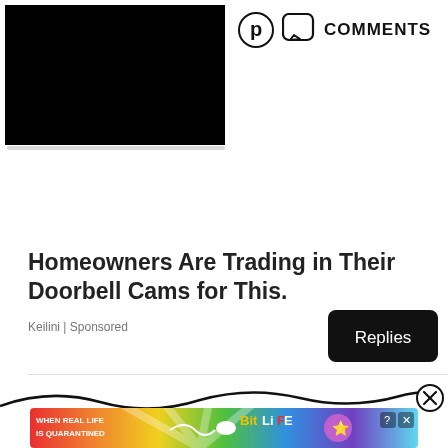[Figure (screenshot): Black rectangle representing a video or image thumbnail placeholder in top-left area]
[Figure (screenshot): Pinterest icon (P in circle) and speech bubble Comments icon with text COMMENTS]
Homeowners Are Trading in Their Doorbell Cams for This.
Keilini | Sponsored
[Figure (screenshot): Black rounded rectangle button with white text 'Replies']
[Figure (screenshot): Decorative wavy black line with X close button circle on the right]
[Figure (screenshot): BitLife advertisement banner with rainbow gradient background, text 'WHEN REAL LIFE IS QUARANTINED', BitLife logo, emoji characters, and close/info buttons]